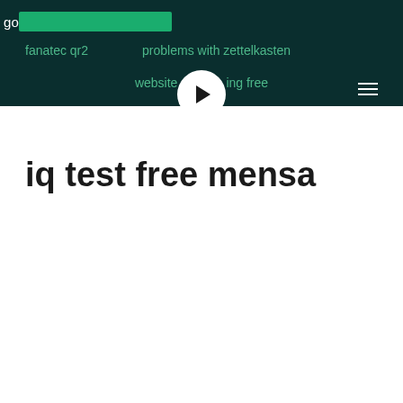[Figure (screenshot): Browser navigation bar with dark teal background, address bar showing 'go' with green highlighted portion, navigation links 'fanatec qr2', 'problems with zettelkasten', hamburger menu icon, bottom row links 'website' and 'ing free', and a white circular play button in the center]
iq test free mensa
[Figure (other): Two rounded rectangle cards partially visible: a large mauve/dusty rose colored card on the left and a smaller olive/yellow-green card on the right edge]